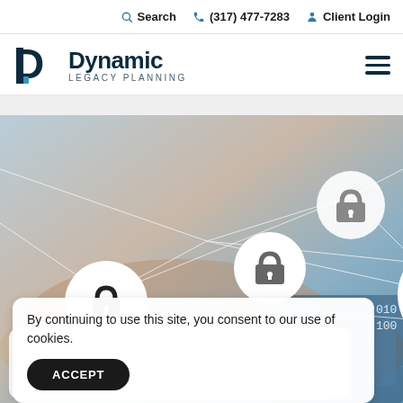Search  (317) 477-7283  Client Login
[Figure (logo): Dynamic Legacy Planning logo with stylized D icon in dark blue and teal]
[Figure (illustration): Cybersecurity themed image showing padlock icons on white circles connected by white network lines, over a blurred background of hands on laptop. One padlock is red/open indicating a security breach. Binary digits visible on right side.]
By continuing to use this site, you consent to our use of cookies.